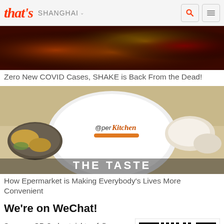that's SHANGHAI
[Figure (photo): Red and yellow abstract image for Zero New COVID Cases, SHAKE is Back From the Dead article]
Zero New COVID Cases, SHAKE is Back From the Dead!
[Figure (photo): Food image showing Eperkitchen branded bowl with various dishes around it]
How Epermarket is Making Everybody's Lives More Convenient
We're on WeChat!
Scan our QR Code at right or follow us at Thats_Shanghai for events, guides, giveaways and much more!
[Figure (other): WeChat QR code for Thats_Shanghai with that's logo in center]